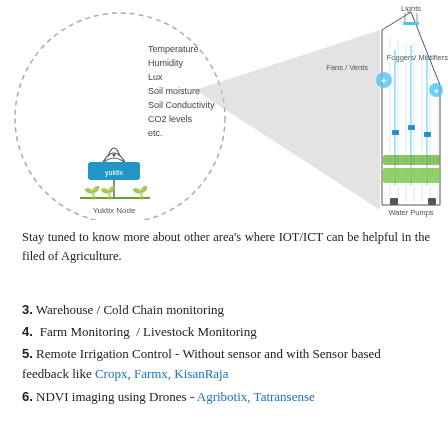[Figure (infographic): Smart greenhouse/indoor farm IoT diagram showing a dashed oval zoomed-in detail of a Yuktix Node sensor device with labels: Temperature, Humidity, Lux, Soil moisture, Soil Conductivity, CO2 levels, etc. The right portion shows a greenhouse cross-section with Lights at top center, Fans/Vents on left, Foggers/Mistifiers on right, plant rows inside, Water Pumps at bottom, and a label for Wireless Mesh network of Yuktix nodes.]
Stay tuned to know more about other area's where IOT/ICT can be helpful in the filed of Agriculture.
3. Warehouse / Cold Chain monitoring
4. Farm Monitoring / Livestock Monitoring
5. Remote Irrigation Control - Without sensor and with Sensor based feedback like Cropx, Farmx, KisanRaja
6. NDVI imaging using Drones - Agribotix, Tatransense